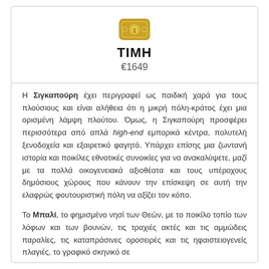[Figure (illustration): Gold/yellow banknote icon with a circle and the number 1 inside, enclosed in a rounded rectangle, centered at top of card]
ΤΙΜΗ
€1649
Η Σιγκαπούρη έχει περιγραφεί ως παιδική χαρά για τους πλούσιους και είναι αλήθεια ότι η μικρή πόλη-κράτος έχει μια ορισμένη λάμψη πλούτου. Όμως, η Σιγκαπούρη προσφέρει περισσότερα από απλά high-end εμπορικά κέντρα, πολυτελή ξενοδοχεία και εξαιρετικό φαγητό. Υπάρχει επίσης μια ζωντανή ιστορία και ποικίλες εθνοτικές συνοικίες για να ανακαλύψετε, μαζί με τα πολλά οικογενειακά αξιοθέατα και τους υπέροχους δημόσιους χώρους που κάνουν την επίσκεψη σε αυτή την ελαφρώς φουτουριστική πόλη να αξίζει τον κόπο.
Το Μπαλί, το φημισμένο νησί των Θεών, με το ποικίλο τοπίο των λόφων και των βουνών, τις τραχιές ακτές και τις αμμώδεις παραλίες, τις καταπράσινες οροσειρές και τις ηφαιστειογενείς πλαγιές, το γραφικό σκηνικό σε